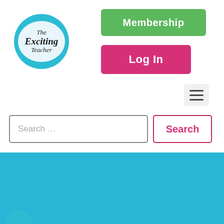[Figure (logo): The Exciting Teacher circular logo with blue background]
Membership
Log In
Search ...
Search
[Figure (screenshot): Educational worksheet with hexagon shapes in blue, teal, and yellow. Contains 'I can' text and 'Let's practise our positive thinking!' with a smiley face. Includes a note about cutting out for display.]